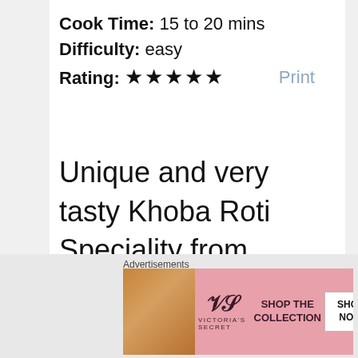Cook Time: 15 to 20 mins
Difficulty: easy
Rating: ★★★★★   Print
Unique and very tasty Khoba Roti Speciality from Rajasthan
Advertisements
[Figure (photo): Victoria's Secret advertisement banner with a woman's photo on the left, VS logo in center, 'SHOP THE COLLECTION' text, and 'SHOP NOW' button on the right]